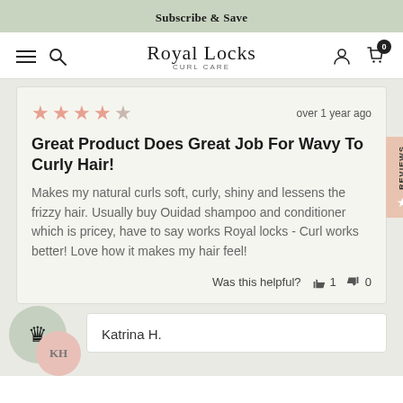Subscribe & Save
Royal Locks CURL CARE
★★★★☆ over 1 year ago
Great Product Does Great Job For Wavy To Curly Hair!
Makes my natural curls soft, curly, shiny and lessens the frizzy hair. Usually buy Ouidad shampoo and conditioner which is pricey, have to say works Royal locks - Curl works better! Love how it makes my hair feel!
Was this helpful? 👍 1 👎 0
Katrina H.